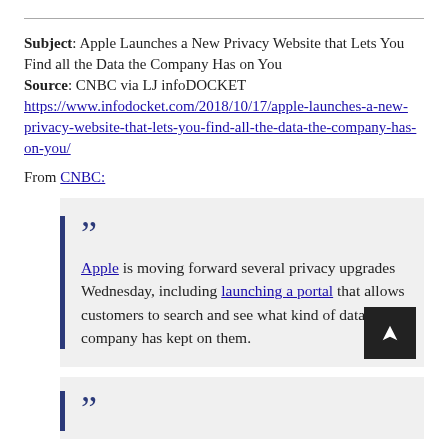Subject: Apple Launches a New Privacy Website that Lets You Find all the Data the Company Has on You
Source: CNBC via LJ infoDOCKET
https://www.infodocket.com/2018/10/17/apple-launches-a-new-privacy-website-that-lets-you-find-all-the-data-the-company-has-on-you/
From CNBC:
Apple is moving forward several privacy upgrades Wednesday, including launching a portal that allows customers to search and see what kind of data the company has kept on them.